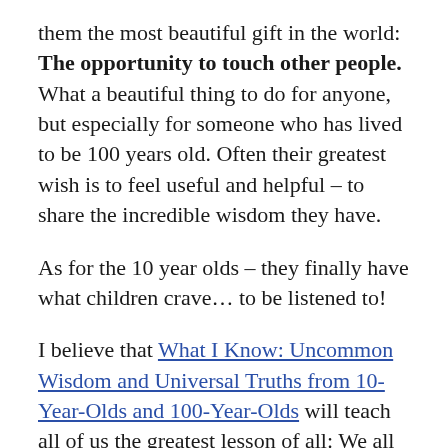them the most beautiful gift in the world: The opportunity to touch other people. What a beautiful thing to do for anyone, but especially for someone who has lived to be 100 years old. Often their greatest wish is to feel useful and helpful – to share the incredible wisdom they have.
As for the 10 year olds – they finally have what children crave… to be listened to!
I believe that What I Know: Uncommon Wisdom and Universal Truths from 10-Year-Olds and 100-Year-Olds will teach all of us the greatest lesson of all: We all have something to say and are worth listening to, no matter what our age. Thank you,